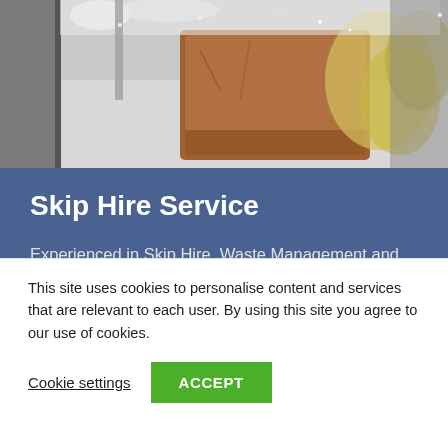[Figure (photo): Photograph of a skip or waste container with debris and rubbish visible, taken in a snowy/wintry outdoor setting. Shows brown and grey materials piled up.]
Skip Hire Service
Experienced in Skip Hire, Waste Management and Recycling for over 40 years, our industry knowledge and commitment to greener waste management, means that your waste disposal is in safe hands.
This site uses cookies to personalise content and services that are relevant to each user. By using this site you agree to our use of cookies.
Cookie settings   ACCEPT